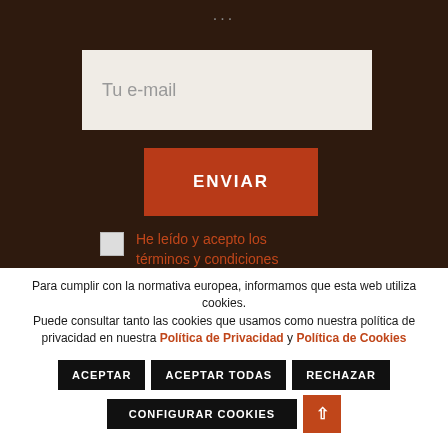...
[Figure (screenshot): Email input field with placeholder text 'Tu e-mail' on dark brown background]
ENVIAR
He leído y acepto los términos y condiciones
Para cumplir con la normativa europea, informamos que esta web utiliza cookies. Puede consultar tanto las cookies que usamos como nuestra política de privacidad en nuestra Política de Privacidad y Política de Cookies
ACEPTAR
ACEPTAR TODAS
RECHAZAR
CONFIGURAR COOKIES